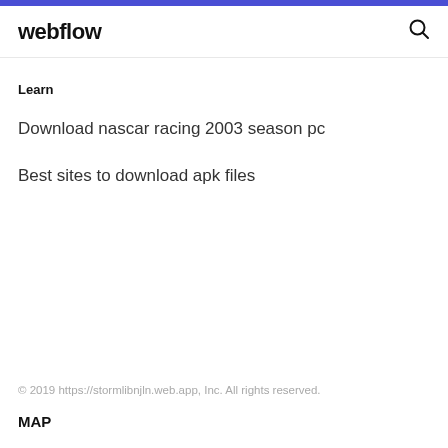webflow
Learn
Download nascar racing 2003 season pc
Best sites to download apk files
© 2019 https://stormlibnjln.web.app, Inc. All rights reserved.
MAP